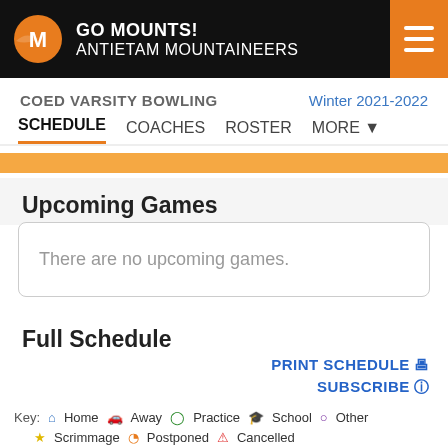GO MOUNTS! ANTIETAM MOUNTAINEERS
COED VARSITY BOWLING   Winter 2021-2022
SCHEDULE  COACHES  ROSTER  MORE
Upcoming Games
There are no upcoming games.
Full Schedule
PRINT SCHEDULE
SUBSCRIBE
Key: Home  Away  Practice  School  Other  Scrimmage  Postponed  Cancelled